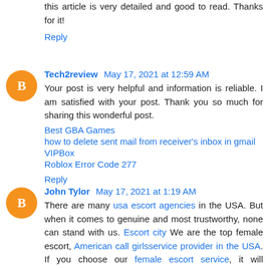this article is very detailed and good to read. Thanks for it!
Reply
Tech2review May 17, 2021 at 12:59 AM
Your post is very helpful and information is reliable. I am satisfied with your post. Thank you so much for sharing this wonderful post.
Best GBA Games
how to delete sent mail from receiver's inbox in gmail
VIPBox
Roblox Error Code 277
Reply
John Tylor May 17, 2021 at 1:19 AM
There are many usa escort agencies in the USA. But when it comes to genuine and most trustworthy, none can stand with us. Escort city We are the top female escort, American call girlsservice provider in the USA. If you choose our female escort service, it will definitely be a wise decision